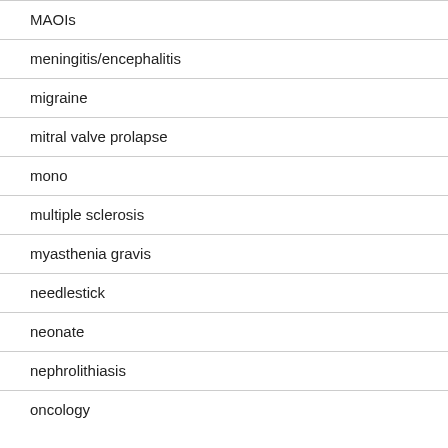MAOIs
meningitis/encephalitis
migraine
mitral valve prolapse
mono
multiple sclerosis
myasthenia gravis
needlestick
neonate
nephrolithiasis
oncology